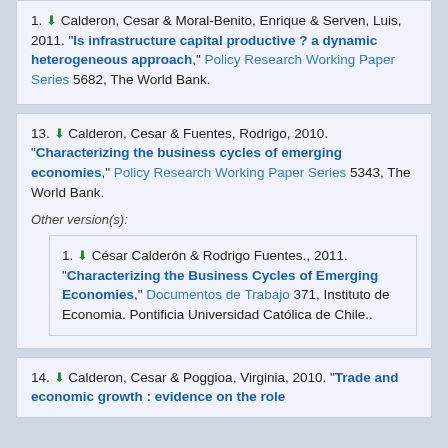1. Calderon, Cesar & Moral-Benito, Enrique & Serven, Luis, 2011. "Is infrastructure capital productive ? a dynamic heterogeneous approach," Policy Research Working Paper Series 5682, The World Bank.
13. Calderon, Cesar & Fuentes, Rodrigo, 2010. "Characterizing the business cycles of emerging economies," Policy Research Working Paper Series 5343, The World Bank.
Other version(s):
1. César Calderón & Rodrigo Fuentes., 2011. "Characterizing the Business Cycles of Emerging Economies," Documentos de Trabajo 371, Instituto de Economia. Pontificia Universidad Católica de Chile..
14. Calderon, Cesar & Poggioa, Virginia, 2010. "Trade and economic growth : evidence on the role